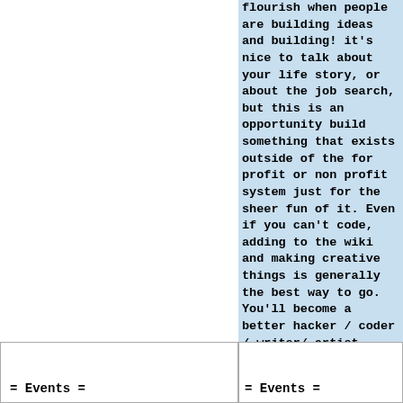flourish when people are building ideas and building! it's nice to talk about your life story, or about the job search, but this is an opportunity build something that exists outside of the for profit or non profit system just for the sheer fun of it. Even if you can't code, adding to the wiki and making creative things is generally the best way to go. You'll become a better hacker / coder / writer/ artist because of it!
= Events =
= Events =